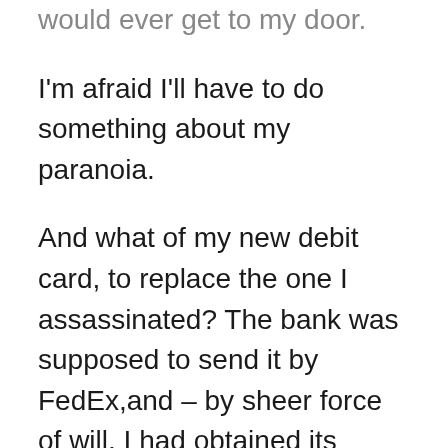would ever get to my door.
I'm afraid I'll have to do something about my paranoia.
And what of my new debit card, to replace the one I assassinated? The bank was supposed to send it by FedEx,and – by sheer force of will, I had obtained its tracking number!! The FedEx website is tracking the card's meandering progress through Europe, which is making the advance of the Allies in World War II look speedy by comparison. The card cleared Customs in Paris, sauntered on to Palermo with some two-day book orders, and is currently having a cappucino with an overnight garment delivery on the outskirts of Milan. Thank God it wasn't fresh squid.
From the looks of my card's FedEx itinerary, it won't get here before we leave in December, and definately not